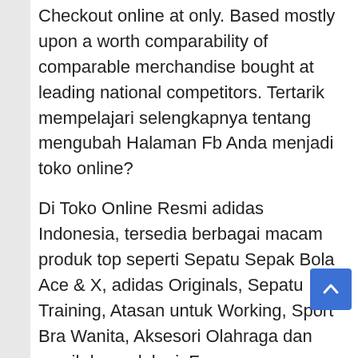Checkout online at only. Based mostly upon a worth comparability of comparable merchandise bought at leading national competitors. Tertarik mempelajari selengkapnya tentang mengubah Halaman Fb Anda menjadi toko online?
Di Toko Online Resmi adidas Indonesia, tersedia berbagai macam produk top seperti Sepatu Sepak Bola Ace & X, adidas Originals, Sepatu Training, Atasan untuk Working, Sport Bra Wanita, Aksesori Olahraga dan masih banyak lagi. From comprehensive guides to spotlights on must-have merchandise to styling suggestions for hard-to-put on trends, all of your purchasing intel is correct right here.
Your vacation shopping starts and ends here.